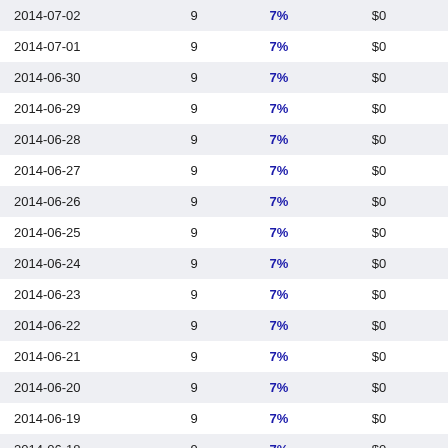| 2014-07-02 | 9 | 7% | $0 | -- |
| 2014-07-01 | 9 | 7% | $0 | -- |
| 2014-06-30 | 9 | 7% | $0 | -- |
| 2014-06-29 | 9 | 7% | $0 | -- |
| 2014-06-28 | 9 | 7% | $0 | -- |
| 2014-06-27 | 9 | 7% | $0 | -- |
| 2014-06-26 | 9 | 7% | $0 | -- |
| 2014-06-25 | 9 | 7% | $0 | -- |
| 2014-06-24 | 9 | 7% | $0 | -- |
| 2014-06-23 | 9 | 7% | $0 | -- |
| 2014-06-22 | 9 | 7% | $0 | -- |
| 2014-06-21 | 9 | 7% | $0 | -- |
| 2014-06-20 | 9 | 7% | $0 | -- |
| 2014-06-19 | 9 | 7% | $0 | -- |
| 2014-06-18 | 9 | 7% | $0 | -- |
| 2014-06-17 | 9 | 7% | $0 | -- |